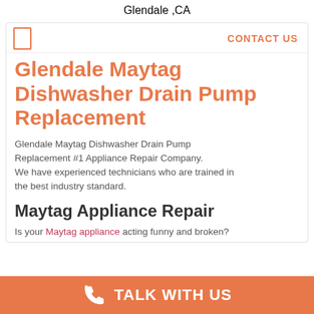Glendale ,CA
CONTACT US
Glendale Maytag Dishwasher Drain Pump Replacement
Glendale Maytag Dishwasher Drain Pump Replacement #1 Appliance Repair Company. We have experienced technicians who are trained in the best industry standard.
Maytag Appliance Repair
Is your Maytag appliance acting funny and broken?
TALK WITH US